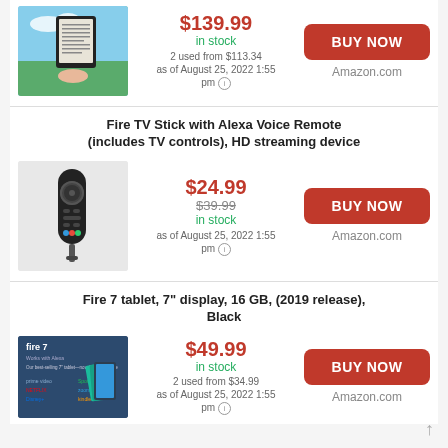[Figure (photo): Kindle e-reader device held outdoors near water]
$139.99
in stock
2 used from $113.34
as of August 25, 2022 1:55 pm
BUY NOW
Amazon.com
Fire TV Stick with Alexa Voice Remote (includes TV controls), HD streaming device
[Figure (photo): Fire TV Stick with Alexa Voice Remote]
$24.99
$39.99
in stock
as of August 25, 2022 1:55 pm
BUY NOW
Amazon.com
Fire 7 tablet, 7" display, 16 GB, (2019 release), Black
[Figure (photo): Fire 7 tablet promotional image showing the device in multiple colors]
$49.99
in stock
2 used from $34.99
as of August 25, 2022 1:55 pm
BUY NOW
Amazon.com